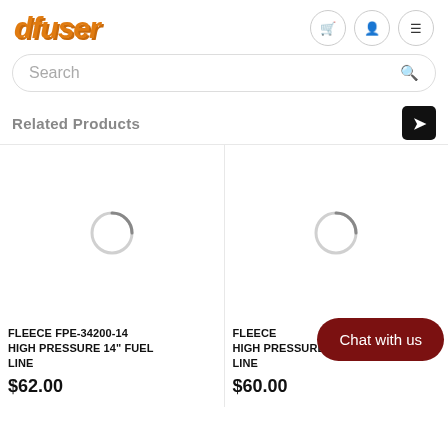dFUSER
Search
Related Products
[Figure (photo): Loading spinner / product image placeholder for first product card]
FLEECE FPE-34200-14 HIGH PRESSURE 14" FUEL LINE
$62.00
[Figure (photo): Loading spinner / product image placeholder for second product card]
FLEECE HIGH PRESSURE FUEL LINE
$60.00
Chat with us